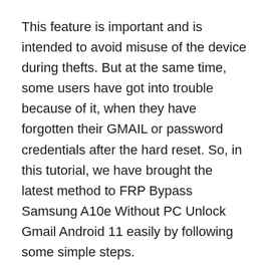This feature is important and is intended to avoid misuse of the device during thefts. But at the same time, some users have got into trouble because of it, when they have forgotten their GMAIL or password credentials after the hard reset. So, in this tutorial, we have brought the latest method to FRP Bypass Samsung A10e Without PC Unlock Gmail Android 11 easily by following some simple steps.
The FRP feature has been added to the phones that are available on the modern Android systems (Lollipop, Marshmallow,